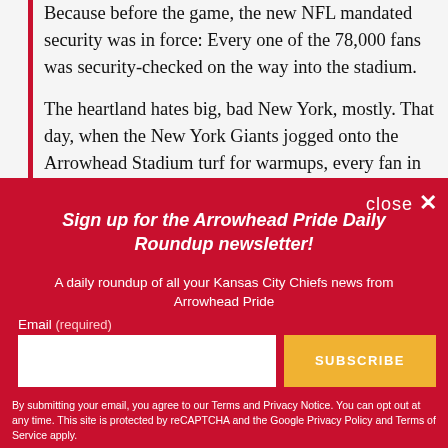Because before the game, the new NFL mandated security was in force: Every one of the 78,000 fans was security-checked on the way into the stadium.
The heartland hates big, bad New York, mostly. That day, when the New York Giants jogged onto the Arrowhead Stadium turf for warmups, every fan in
Sign up for the Arrowhead Pride Daily Roundup newsletter!
A daily roundup of all your Kansas City Chiefs news from Arrowhead Pride
Email (required)
SUBSCRIBE
By submitting your email, you agree to our Terms and Privacy Notice. You can opt out at any time. This site is protected by reCAPTCHA and the Google Privacy Policy and Terms of Service apply.